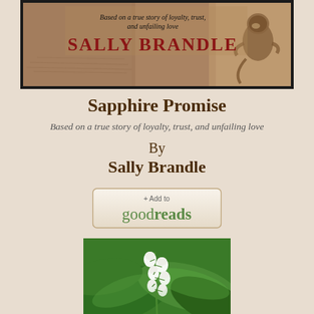[Figure (illustration): Book cover banner for 'Sapphire Promise' by Sally Brandle. Sepia-toned historical images with a monkey silhouette on the right. Text reads 'Based on a true story of loyalty, trust, and unfailing love' and 'SALLY BRANDLE' in red bold letters.]
Sapphire Promise
Based on a true story of loyalty, trust, and unfailing love
By
Sally Brandle
[Figure (other): + Add to goodreads button with rounded rectangle border]
[Figure (photo): Close-up photo of white lily of the valley flowers with green leaves]